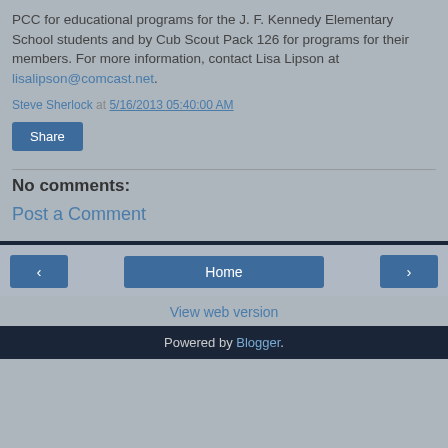PCC for educational programs for the J. F. Kennedy Elementary School students and by Cub Scout Pack 126 for programs for their members. For more information, contact Lisa Lipson at lisalipson@comcast.net.
Steve Sherlock at 5/16/2013 05:40:00 AM
Share
No comments:
Post a Comment
Home
View web version
Powered by Blogger.